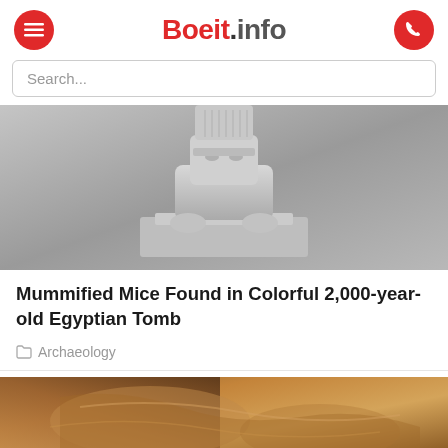Boeit.info
Search...
[Figure (photo): Black and white photo of an ancient Egyptian statue, showing the torso and paws of a crouching sphinx-like figure on a stone base]
Mummified Mice Found in Colorful 2,000-year-old Egyptian Tomb
Archaeology
[Figure (photo): Color photo of what appears to be mummified remains with warm amber/brown tones]